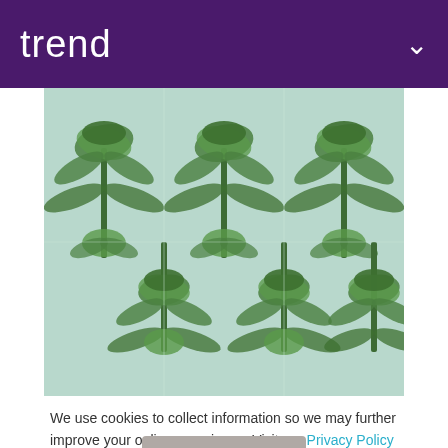trend
[Figure (illustration): Decorative botanical/tropical wallpaper pattern featuring repeating palm trees and large fan-shaped tropical flowers/leaves in shades of green on a light mint/blue-green background.]
We use cookies to collect information so we may further improve your online experience. Visit our Privacy Policy page for more information.
Accept